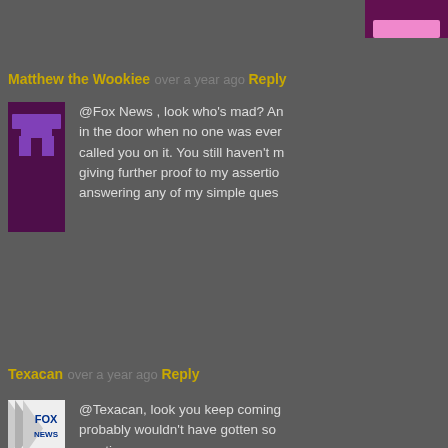[Figure (illustration): Partial avatar at top of page, pink/maroon wookiee icon]
Matthew the Wookiee over a year ago Reply
@Fox News , look who's mad? An in the door when no one was ever called you on it. You still haven't m giving further proof to my assertio answering any of my simple ques
Texacan over a year ago Reply
@Texacan, look you keep coming probably wouldn't have gotten so reaction
Fox News over a year ago Reply
@Fox News , your grammar is ge grade? The irony here is that you Even as I Finish typing this, you a
Texacan over a year ago Reply
@Texacan, lol you are going crazy everything I type on the Internet e